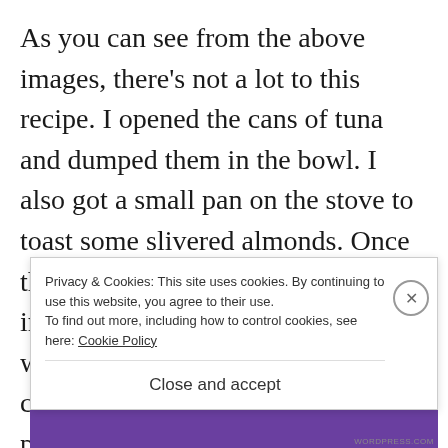As you can see from the above images, there's not a lot to this recipe. I opened the cans of tuna and dumped them in the bowl. I also got a small pan on the stove to toast some slivered almonds. Once those were done, they were dropped in too. Aside from that, the most work this recipe requires is chopping up the peppers and pouring liquid in the container. Mix it up and you've got a
Privacy & Cookies: This site uses cookies. By continuing to use this website, you agree to their use.
To find out more, including how to control cookies, see here: Cookie Policy
Close and accept